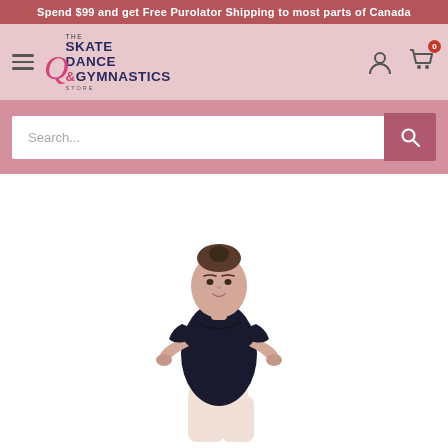Spend $99 and get Free Purolator Shipping to most parts of Canada
[Figure (logo): Quinn's The Skate Dance & Gymnastics Store logo with stylized Q in pink/magenta]
Search...
[Figure (photo): A young woman wearing a black short-sleeve leotard and white tights poses with hands on hips against a white background]